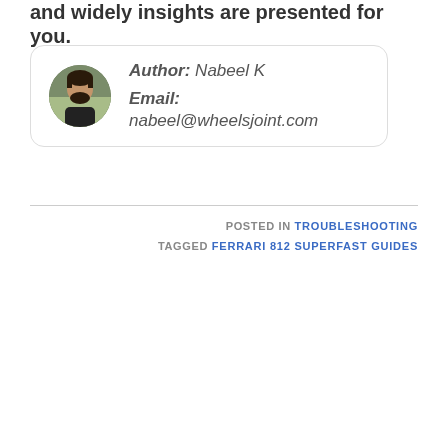and widely insights are presented for you.
Author: Nabeel K
Email: nabeel@wheelsjoint.com
POSTED IN TROUBLESHOOTING
TAGGED FERRARI 812 SUPERFAST GUIDES